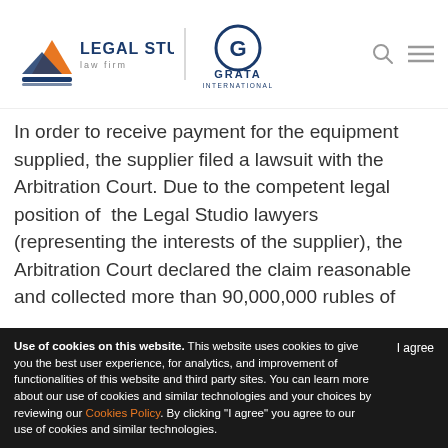Legal Studio Law Firm | GRATA International
In order to receive payment for the equipment supplied, the supplier filed a lawsuit with the Arbitration Court. Due to the competent legal position of the Legal Studio lawyers (representing the interests of the supplier), the Arbitration Court declared the claim reasonable and collected more than 90,000,000 rubles of debt from the respondent, while rejecting the respondent's objection that the necessary condition established by the agreement did not occur, and there were no grounds for making
Use of cookies on this website. This website uses cookies to give you the best user experience, for analytics, and improvement of functionalities of this website and third party sites. You can learn more about our use of cookies and similar technologies and your choices by reviewing our Cookies Policy. By clicking "I agree" you agree to our use of cookies and similar technologies. I agree